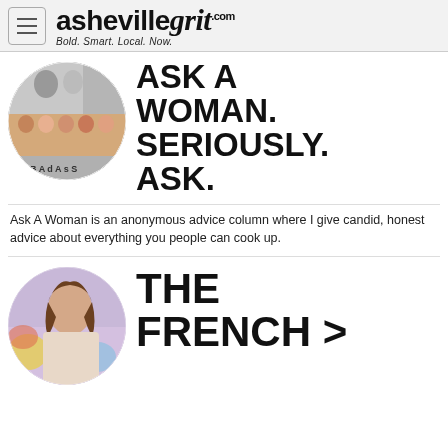ashevillegrit.com — Bold. Smart. Local. Now.
[Figure (photo): Circular collage of black-and-white and color photos of women, with 'BADASS' text visible at bottom]
ASK A WOMAN. SERIOUSLY. ASK.
Ask A Woman is an anonymous advice column where I give candid, honest advice about everything you people can cook up.
[Figure (photo): Circular photo of a woman with curly hair in front of colorful background]
THE FRENCH >